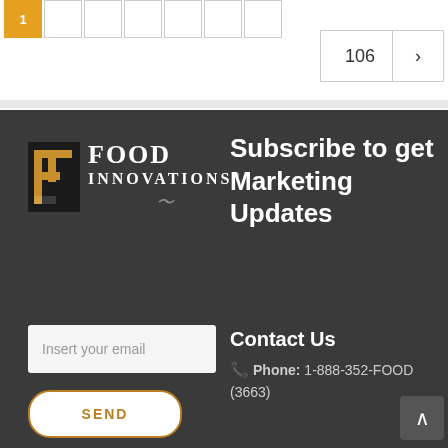Pagination bar with page 106 and next arrow
[Figure (logo): Food Innovations logo with 'FI' icon and company name on dark background]
Subscribe to get Marketing Updates
Insert your email
SEND
Contact Us
Phone: 1-888-352-FOOD (3663)